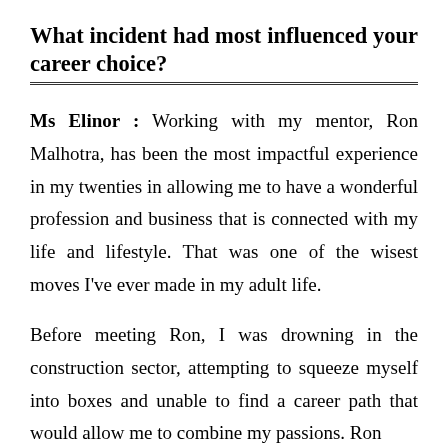What incident had most influenced your career choice?
Ms Elinor : Working with my mentor, Ron Malhotra, has been the most impactful experience in my twenties in allowing me to have a wonderful profession and business that is connected with my life and lifestyle. That was one of the wisest moves I've ever made in my adult life.
Before meeting Ron, I was drowning in the construction sector, attempting to squeeze myself into boxes and unable to find a career path that would allow me to combine my passions. Ron